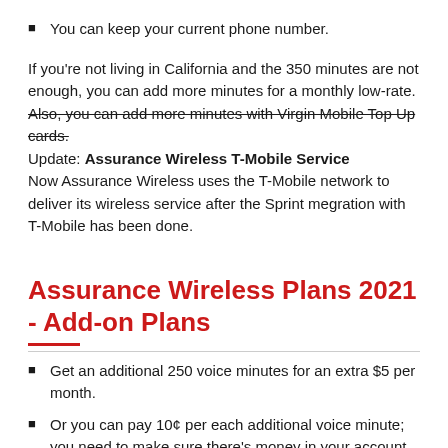You can keep your current phone number.
If you're not living in California and the 350 minutes are not enough, you can add more minutes for a monthly low-rate. Also, you can add more minutes with Virgin Mobile Top Up cards. Update: Assurance Wireless T-Mobile Service Now Assurance Wireless uses the T-Mobile network to deliver its wireless service after the Sprint megration with T-Mobile has been done.
Assurance Wireless Plans 2021 - Add-on Plans
Get an additional 250 voice minutes for an extra $5 per month.
Or you can pay 10¢ per each additional voice minute; you need to make sure there's money in your account.